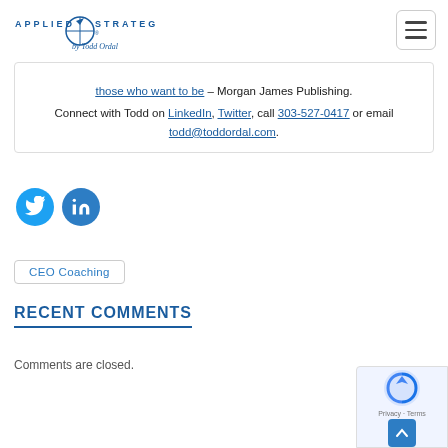Applied Strategy by Todd Ordal
those who want to be – Morgan James Publishing.
Connect with Todd on LinkedIn, Twitter, call 303-527-0417 or email todd@toddordal.com.
[Figure (logo): Twitter bird icon (blue circle) and LinkedIn 'in' icon (blue circle)]
CEO Coaching
RECENT COMMENTS
Comments are closed.